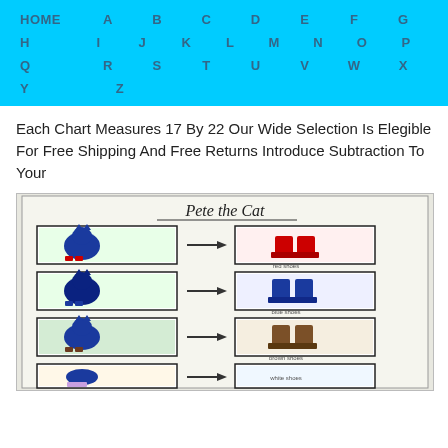HOME A B C D E F G H I J K L M N O P Q R S T U V W X Y Z
Each Chart Measures 17 By 22 Our Wide Selection Is Elegible For Free Shipping And Free Returns Introduce Subtraction To Your
[Figure (photo): Photo of a hand-drawn classroom anchor chart titled 'Pete the Cat' showing four rows, each with a drawing of Pete the Cat on the left and an arrow pointing to a drawing of Pete's shoes on the right. The shoes change colors across the rows (red, blue, brown, white with stripes).]